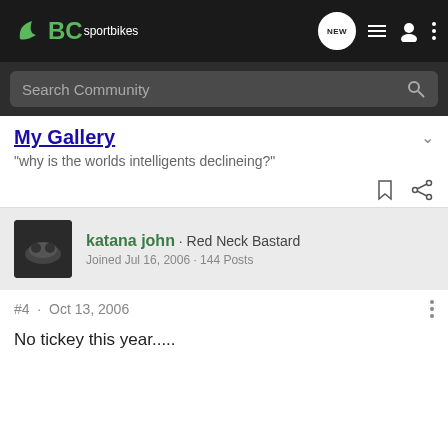BC sportbikes
Search Community
My Gallery
"why is the worlds intelligents declineing?"
katana john · Red Neck Bastard
Joined Jul 16, 2006 · 144 Posts
#4 · Oct 13, 2006
No tickey this year.....